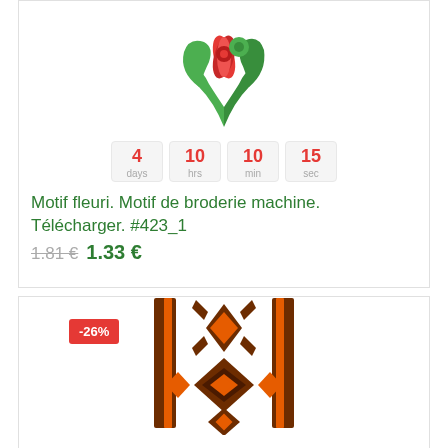[Figure (illustration): Floral embroidery motif with red flower petals and green curling leaves on white background]
4 days  10 hrs  10 min  15 sec
Motif fleuri. Motif de broderie machine. Télécharger. #423_1
1.81 € 1.33 €
-26%
[Figure (illustration): Geometric embroidery pattern with dark brown and orange diamond and cross shapes in a vertical decorative band]